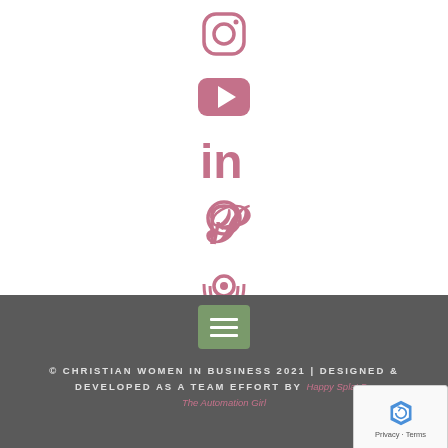[Figure (infographic): Social media icons column (Instagram, YouTube, LinkedIn, Pinterest, Podcast) in dusty rose/mauve color, centered vertically on white background]
FOLLOW US
[Figure (infographic): Dark gray footer bar with green hamburger menu button, copyright text and links]
© CHRISTIAN WOMEN IN BUSINESS 2021 | DESIGNED & DEVELOPED AS A TEAM EFFORT BY Happy Splat De... The Automation Girl